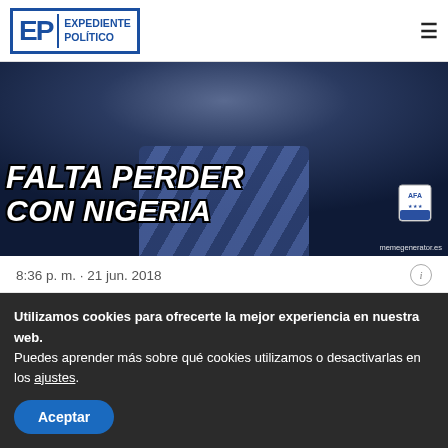Expediente Político
[Figure (photo): Meme image showing a person in an Argentine football jersey with text overlay 'FALTA PERDER CON NIGERIA' and memegenerator.es watermark]
8:36 p. m. · 21 jun. 2018
❤ 784   💬 Responder   🔗 Copiar enlace al...
Leer 26 respuestas
Utilizamos cookies para ofrecerte la mejor experiencia en nuestra web.
Puedes aprender más sobre qué cookies utilizamos o desactivarlas en los ajustes.
Aceptar